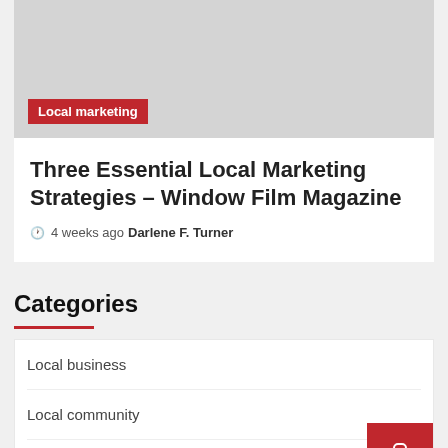[Figure (photo): Gray placeholder image for article thumbnail with 'Local marketing' red tag label overlay at bottom left]
Three Essential Local Marketing Strategies – Window Film Magazine
4 weeks ago  Darlene F. Turner
Categories
Local business
Local community
Local government